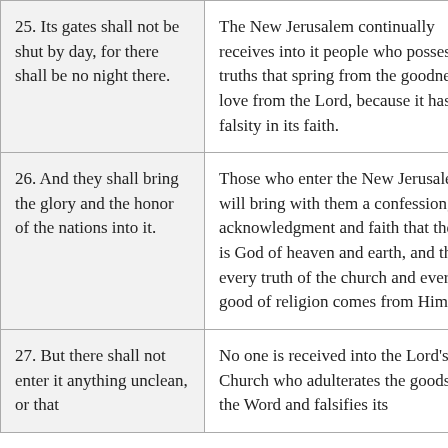| 25. Its gates shall not be shut by day, for there shall be no night there. | The New Jerusalem continually receives into it people who possess truths that spring from the goodness of love from the Lord, because it has no falsity in its faith. |
| 26. And they shall bring the glory and the honor of the nations into it. | Those who enter the New Jerusalem will bring with them a confession, acknowledgment and faith that the Lord is God of heaven and earth, and that every truth of the church and every good of religion comes from Him. |
| 27. But there shall not enter it anything unclean, or that | No one is received into the Lord's New Church who adulterates the goods in the Word and falsifies its |